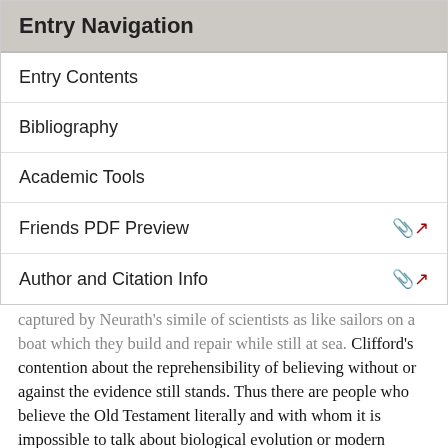Entry Navigation
Entry Contents
Bibliography
Academic Tools
Friends PDF Preview
Author and Citation Info
captured by Neurath's simile of scientists as like sailors on a boat which they build and repair while still at sea. Clifford's contention about the reprehensibility of believing without or against the evidence still stands. Thus there are people who believe the Old Testament literally and with whom it is impossible to talk about biological evolution or modern cosmology. They often say explicitly that they will read and believe only what they find it comforting to read and believe.
To give a correct and fully general account of the nature of justified belief is difficult and inevitably controversial.